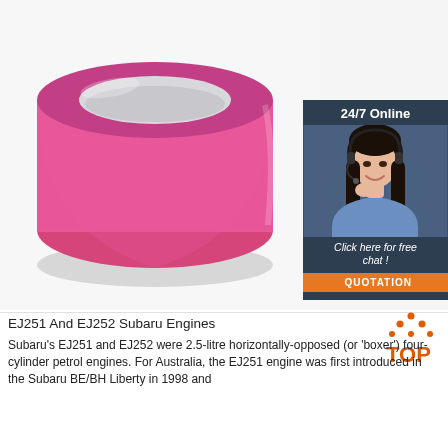[Figure (photo): Pink silicone wristband/ring on white background]
[Figure (infographic): 24/7 Online chat support advertisement banner with woman wearing headset, dark blue/slate background, 'Click here for free chat!' text and orange QUOTATION button]
EJ251 And EJ252 Subaru Engines
Subaru's EJ251 and EJ252 were 2.5-litre horizontally-opposed (or 'boxer') four-cylinder petrol engines. For Australia, the EJ251 engine was first introduced in the Subaru BE/BH Liberty in 1998 and